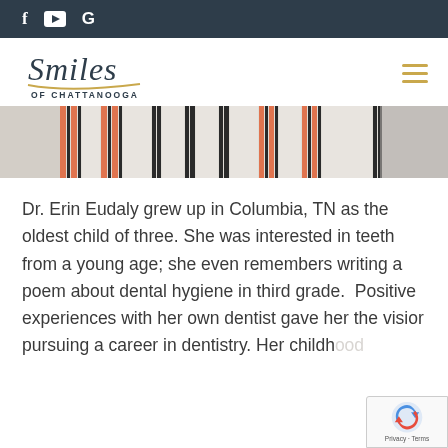f ▶ G (social media icons: Facebook, YouTube, Google)
[Figure (logo): Smiles of Chattanooga logo — cursive 'Smiles' with underline flourish, 'OF CHATTANOOGA' in small caps below]
[Figure (photo): Close-up photo of a person wearing a striped garment — white fabric with black and orange/red vertical stripes]
Dr. Erin Eudaly grew up in Columbia, TN as the oldest child of three. She was interested in teeth from a young age; she even remembers writing a poem about dental hygiene in third grade.  Positive experiences with her own dentist gave her the vision pursuing a career in dentistry. Her childhood